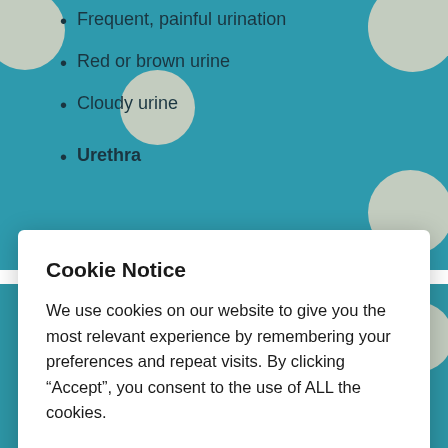Frequent, painful urination
Red or brown urine
Cloudy urine
Urethra
Cookie Notice
We use cookies on our website to give you the most relevant experience by remembering your preferences and repeat visits. By clicking “Accept”, you consent to the use of ALL the cookies.
Cookie settings
ACCEPT
tests to find other possible diagnoses. Alternatively, a urine culture can be sent, and if it grows bacteria after a few days, then antibiotics should be started.